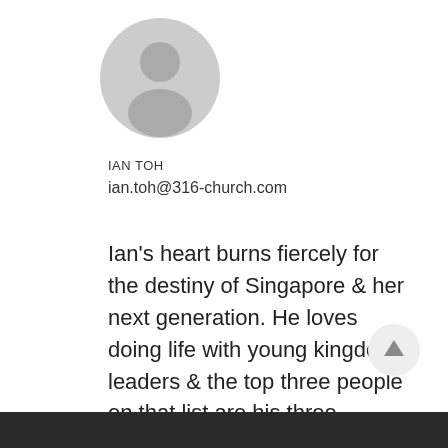[Figure (illustration): Gray circular default user avatar icon with silhouette of a person head and shoulders]
IAN TOH
ian.toh@316-church.com
Ian's heart burns fiercely for the destiny of Singapore & her next generation. He loves doing life with young kingdom leaders & the top three people on that list are his three children, Elias, Jan & Isaias.
[Figure (illustration): Light gray circular button with an upward arrow icon]